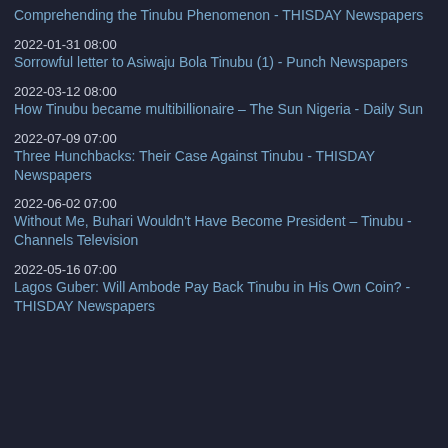Comprehending the Tinubu Phenomenon - THISDAY Newspapers
2022-01-31 08:00
Sorrowful letter to Asiwaju Bola Tinubu (1) - Punch Newspapers
2022-03-12 08:00
How Tinubu became multibillionaire – The Sun Nigeria - Daily Sun
2022-07-09 07:00
Three Hunchbacks: Their Case Against Tinubu - THISDAY Newspapers
2022-06-02 07:00
Without Me, Buhari Wouldn't Have Become President – Tinubu - Channels Television
2022-05-16 07:00
Lagos Guber: Will Ambode Pay Back Tinubu in His Own Coin? - THISDAY Newspapers